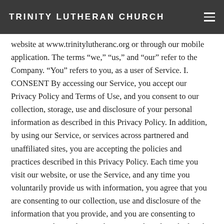TRINITY LUTHERAN CHURCH
website at www.trinitylutheranc.org or through our mobile application. The terms “we,” “us,” and “our” refer to the Company. “You” refers to you, as a user of Service. I. CONSENT By accessing our Service, you accept our Privacy Policy and Terms of Use, and you consent to our collection, storage, use and disclosure of your personal information as described in this Privacy Policy. In addition, by using our Service, or services across partnered and unaffiliated sites, you are accepting the policies and practices described in this Privacy Policy. Each time you visit our website, or use the Service, and any time you voluntarily provide us with information, you agree that you are consenting to our collection, use and disclosure of the information that you provide, and you are consenting to receive emails or otherwise be contacted, as described in this Privacy Policy. Whether or not you register or create any kind of account with us,